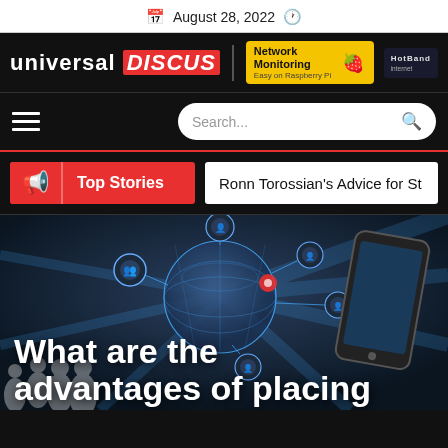August 28, 2022
[Figure (logo): Universal Discus logo with red highlight on DISCUS, and a Network Monitoring banner ad (Easy on Raspberry Pi) with HotBond brand badge]
[Figure (screenshot): Navigation bar with hamburger menu and Search... input box]
Top Stories  |  Ronn Torossian's Advice for St
[Figure (illustration): Dark blue hero image showing a globe with network connections, silhouette of people, and a smartphone, overlaid with bold white text: What are the advantages of placing]